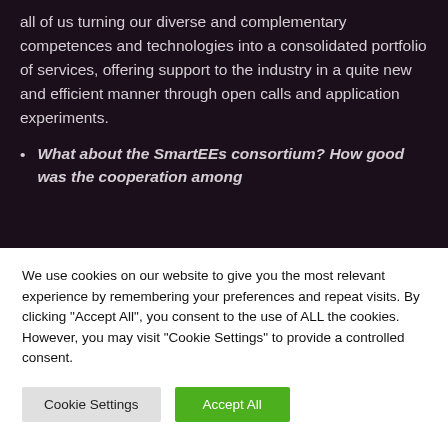all of us turning our diverse and complementary competences and technologies into a consolidated portfolio of services, offering support to the industry in a quite new and efficient manner through open calls and application experiments.
What about the SmartEEs consortium? How good was the cooperation among
We use cookies on our website to give you the most relevant experience by remembering your preferences and repeat visits. By clicking "Accept All", you consent to the use of ALL the cookies. However, you may visit "Cookie Settings" to provide a controlled consent.